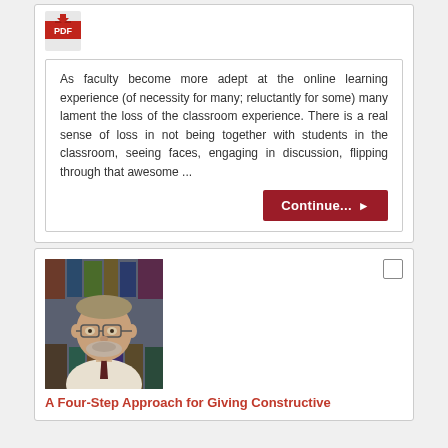[Figure (logo): PDF icon (red Adobe PDF logo)]
As faculty become more adept at the online learning experience (of necessity for many; reluctantly for some) many lament the loss of the classroom experience. There is a real sense of loss in not being together with students in the classroom, seeing faces, engaging in discussion, flipping through that awesome ...
[Figure (photo): Portrait photo of a middle-aged man with glasses and grey beard, standing in front of a bookshelf]
A Four-Step Approach for Giving Constructive